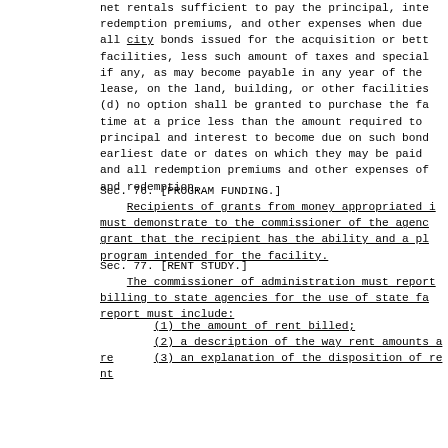net rentals sufficient to pay the principal, inte redemption premiums, and other expenses when due all city bonds issued for the acquisition or bett facilities, less such amount of taxes and special if any, as may become payable in any year of the lease, on the land, building, or other facilities (d) no option shall be granted to purchase the fa time at a price less than the amount required to principal and interest to become due on such bond earliest date or dates on which they may be paid and all redemption premiums and other expenses of and redemption.
Sec. 76.  [PROGRAM FUNDING.]
Recipients of grants from money appropriated i must demonstrate to the commissioner of the agenc grant that the recipient has the ability and a pl program intended for the facility.
Sec. 77.  [RENT STUDY.]
The commissioner of administration must report billing to state agencies for the use of state fa report must include:
(1) the amount of rent billed;
(2) a description of the way rent amounts are
(3) an explanation of the disposition of rent